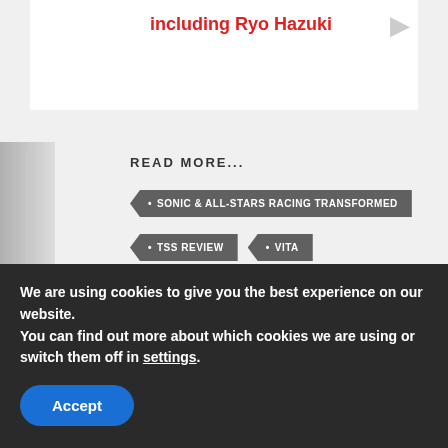including Ryo Hazuki
READ MORE...
• SONIC & ALL-STARS RACING TRANSFORMED
• TSS REVIEW
• VITA
The Sonic Stadium may link to retailers and earn a small commission on purchases made from users who click those links. These links will only appear in articles
We are using cookies to give you the best experience on our website.
You can find out more about which cookies we are using or switch them off in settings.
Accept